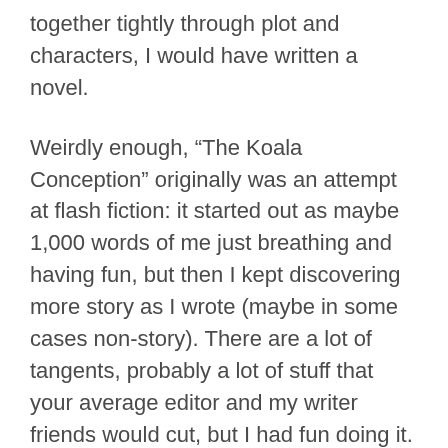together tightly through plot and characters, I would have written a novel.
Weirdly enough, “The Koala Conception” originally was an attempt at flash fiction: it started out as maybe 1,000 words of me just breathing and having fun, but then I kept discovering more story as I wrote (maybe in some cases non-story). There are a lot of tangents, probably a lot of stuff that your average editor and my writer friends would cut, but I had fun doing it. It’s one of the pieces in the collection that I’m proud of most, although it kind of worries me that in the case of that story I don’t care as much about what the reader thinks, because I typically consider the reader a lot. That’s a behavior that I’m still trying to measure.